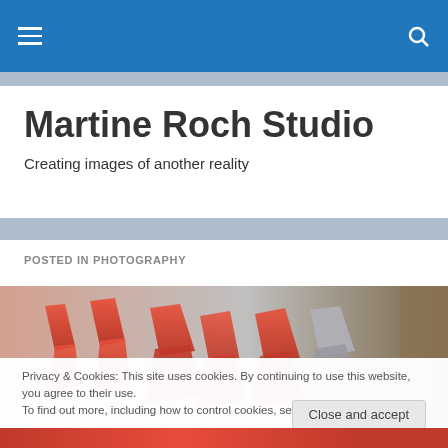Martine Roch Studio — navigation bar with menu and search icons
Martine Roch Studio
Creating images of another reality
POSTED IN PHOTOGRAPHY
[Figure (photo): Photograph of red high-heeled shoes displayed or arranged, with muted gray background and a dark strip on the right edge]
Privacy & Cookies: This site uses cookies. By continuing to use this website, you agree to their use.
To find out more, including how to control cookies, see here: Cookie Policy
Close and accept
[Figure (photo): Bottom strip of another photo showing red items, partially visible]